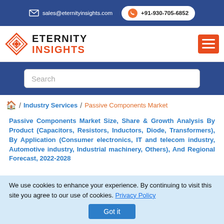sales@eternityinsights.com | +91-930-705-6852
[Figure (logo): Eternity Insights logo with diamond shape icon and company name]
Search
/ Industry Services / Passive Components Market
Passive Components Market Size, Share & Growth Analysis By Product (Capacitors, Resistors, Inductors, Diode, Transformers), By Application (Consumer electronics, IT and telecom industry, Automotive industry, Industrial machinery, Others), And Regional Forecast, 2022-2028
We use cookies to enhance your experience. By continuing to visit this site you agree to our use of cookies. Privacy Policy Got it